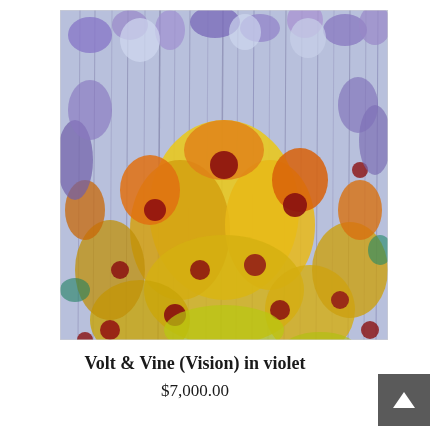[Figure (illustration): Abstract painting titled 'Volt & Vine (Vision) in violet' featuring colorful flowers with yellow, orange, red, and purple tones with dripping paint effects on a lavender/blue background]
Volt & Vine (Vision) in violet
$7,000.00